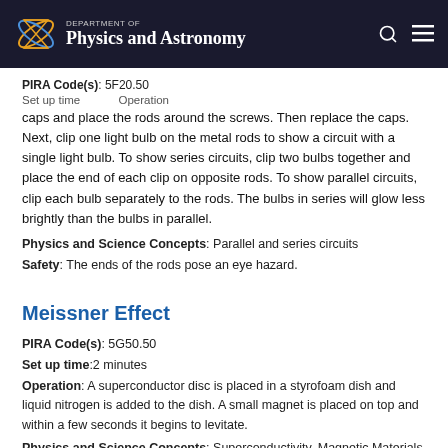Department of Physics and Astronomy
PIRA Code(s): 5F20.50
Set up time: ... Operation: ...
caps and place the rods around the screws. Then replace the caps. Next, clip one light bulb on the metal rods to show a circuit with a single light bulb. To show series circuits, clip two bulbs together and place the end of each clip on opposite rods. To show parallel circuits, clip each bulb separately to the rods. The bulbs in series will glow less brightly than the bulbs in parallel.
Physics and Science Concepts: Parallel and series circuits
Safety: The ends of the rods pose an eye hazard.
Meissner Effect
PIRA Code(s): 5G50.50
Set up time:2 minutes
Operation: A superconductor disc is placed in a styrofoam dish and liquid nitrogen is added to the dish. A small magnet is placed on top and within a few seconds it begins to levitate.
Physics and Science Concepts: Superconductivity, Magnetic Materials
Safety: Liquid Nitrogen can be obtained from the machine shop.